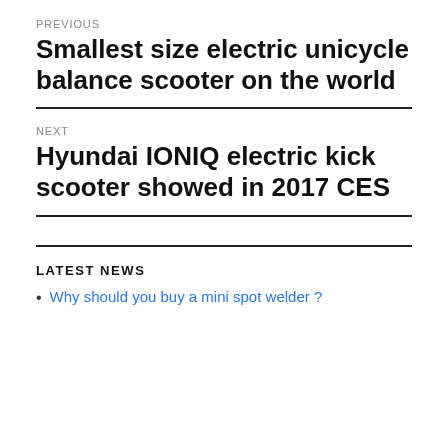PREVIOUS
Smallest size electric unicycle balance scooter on the world
NEXT
Hyundai IONIQ electric kick scooter showed in 2017 CES
LATEST NEWS
Why should you buy a mini spot welder ?